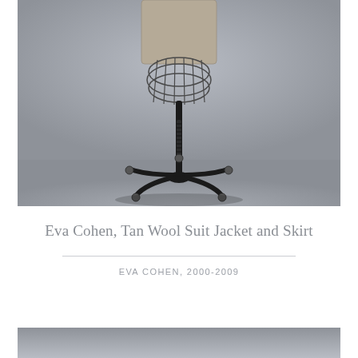[Figure (photo): Bottom portion of a dress form mannequin on a black five-wheeled rolling stand, photographed against a gray studio background. The dress form has a wire cage structure visible at waist, with a fabric-covered torso above. The black metal stand has five curved legs with caster wheels.]
Eva Cohen, Tan Wool Suit Jacket and Skirt
EVA COHEN, 2000-2009
[Figure (photo): Partial view of another photograph, showing a gray studio background, cropped at the bottom of the page.]